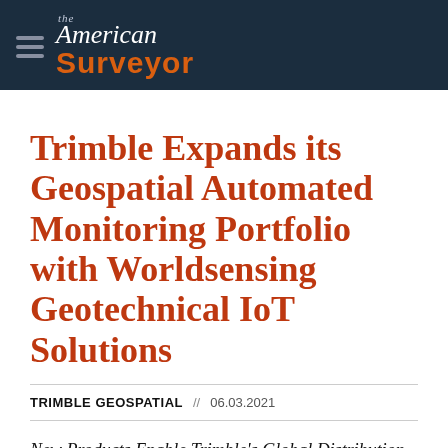the American Surveyor
Trimble Expands its Geospatial Automated Monitoring Portfolio with Worldsensing Geotechnical IoT Solutions
TRIMBLE GEOSPATIAL // 06.03.2021
New Products Enable Trimble’s Global Distribution Channel to Provide a Complete,Turn-Key Automated Monitoring System for Infrastructure